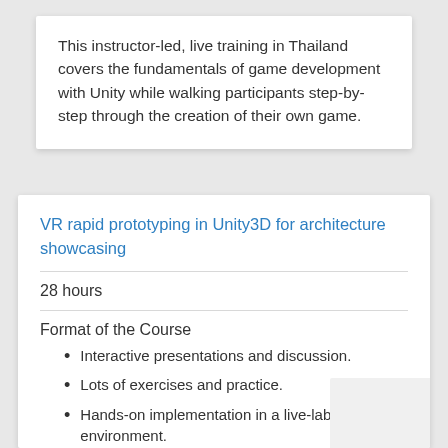This instructor-led, live training in Thailand covers the fundamentals of game development with Unity while walking participants step-by-step through the creation of their own game.
VR rapid prototyping in Unity3D for architecture showcasing
28 hours
Format of the Course
Interactive presentations and discussion.
Lots of exercises and practice.
Hands-on implementation in a live-lab environment.